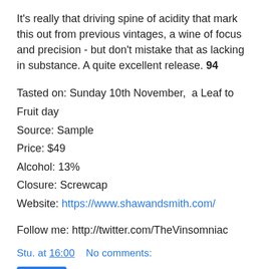It's really that driving spine of acidity that mark this out from previous vintages, a wine of focus and precision - but don't mistake that as lacking in substance. A quite excellent release. 94
Tasted on: Sunday 10th November,  a Leaf to Fruit day
Source: Sample
Price: $49
Alcohol: 13%
Closure: Screwcap
Website: https://www.shawandsmith.com/
Follow me: http://twitter.com/TheVinsomniac
Stu. at 16:00   No comments:
Terre à Terre Down to Earth Sauvignon Blanc 2018